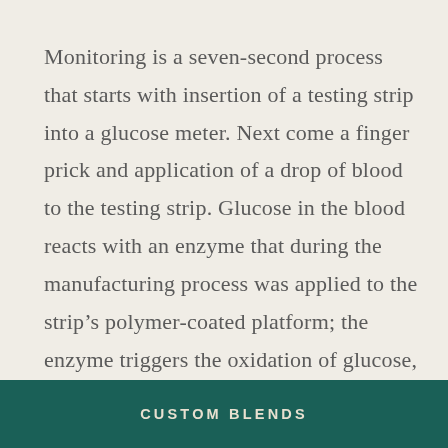Monitoring is a seven-second process that starts with insertion of a testing strip into a glucose meter. Next come a finger prick and application of a drop of blood to the testing strip. Glucose in the blood reacts with an enzyme that during the manufacturing process was applied to the strip’s polymer-coated platform; the enzyme triggers the oxidation of glucose, which releases
CUSTOM BLENDS